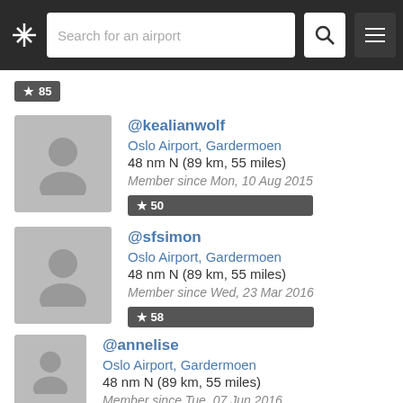Search for an airport
★ 85
@kealianwolf
Oslo Airport, Gardermoen
48 nm N (89 km, 55 miles)
Member since Mon, 10 Aug 2015
★ 50
@sfsimon
Oslo Airport, Gardermoen
48 nm N (89 km, 55 miles)
Member since Wed, 23 Mar 2016
★ 58
@annelise
Oslo Airport, Gardermoen
48 nm N (89 km, 55 miles)
Member since Tue, 07 Jun 2016